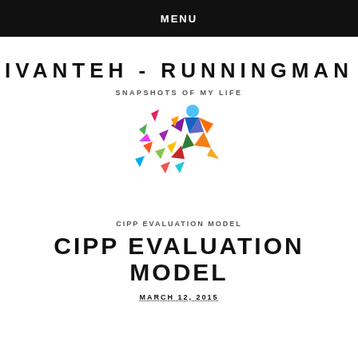MENU
IVANTEH - RUNNINGMAN
SNAPSHOTS OF MY LIFE
[Figure (logo): Colorful geometric running man logo made of triangular polygon shapes in multiple colors including red, orange, yellow, green, blue, purple, and pink]
CIPP EVALUATION MODEL
CIPP EVALUATION MODEL
MARCH 12, 2015